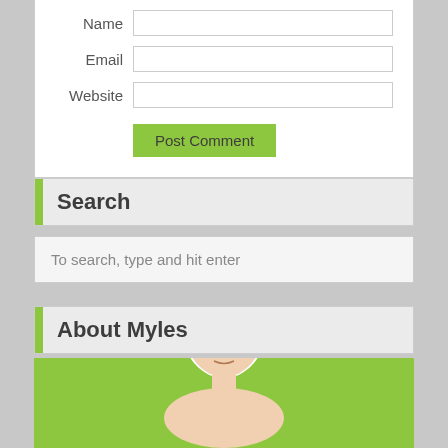Name
Email
Website
Post Comment
Search
To search, type and hit enter
About Myles
[Figure (photo): Photo of a man (Myles) on a green/lime background, showing head and upper shoulders]